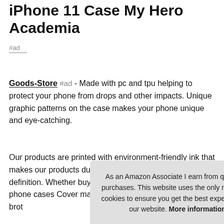iPhone 11 Case My Hero Academia
#ad
Goods-Store #ad - Made with pc and tpu helping to protect your phone from drops and other impacts. Unique graphic patterns on the case makes your phone unique and eye-catching.
Our products are printed with environment-friendly ink that makes our products durable, vivid and realistic high-definition. Whether buying for yourself or others, our phone cases Cover mak brot
As an Amazon Associate I earn from qualifying purchases. This website uses the only necessary cookies to ensure you get the best experience on our website. More information